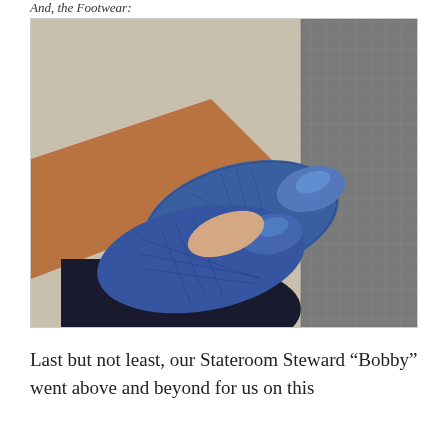And, the Footwear:
[Figure (photo): Close-up photograph of a person's feet wearing blue quilted ballet flats with patent toe caps, crossed over each other, wearing dark navy trousers, sitting on a patterned carpet floor with orange/beige geometric design and a textured grey seat visible to the right.]
Last but not least, our Stateroom Steward “Bobby” went above and beyond for us on this